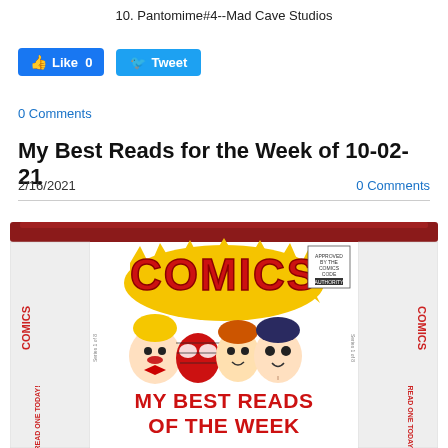10. Pantomime#4--Mad Cave Studios
[Figure (other): Facebook Like button (0 likes) and Twitter Tweet button]
0 Comments
My Best Reads for the Week of 10-02-21
2/16/2021
0 Comments
[Figure (photo): A hexagonal comic book display box with red trim. The box features cartoon characters including Richie Rich, Spider-Man, Archie, and Superman. Text on the box reads COMICS in large red letters and MY BEST READS OF THE WEEK. The sides read READ ONE TODAY.]